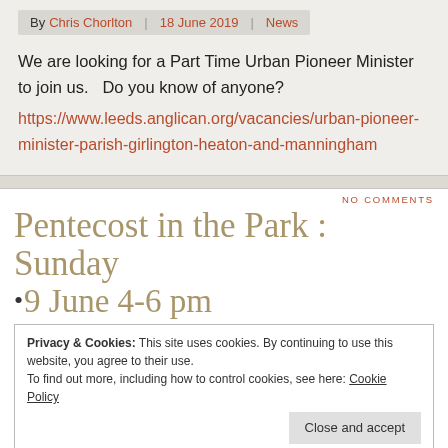By Chris Chorlton   18 June 2019   News
We are looking for a Part Time Urban Pioneer Minister to join us.   Do you know of anyone?
https://www.leeds.anglican.org/vacancies/urban-pioneer-minister-parish-girlington-heaton-and-manningham
NO COMMENTS
Pentecost in the Park : Sunday
• 9 June 4-6 pm
Privacy & Cookies: This site uses cookies. By continuing to use this website, you agree to their use.
To find out more, including how to control cookies, see here: Cookie Policy
Close and accept
and Thursday 6 June to help us create flames and doves for the Pentecost Service at 5.30pm.  Any one is